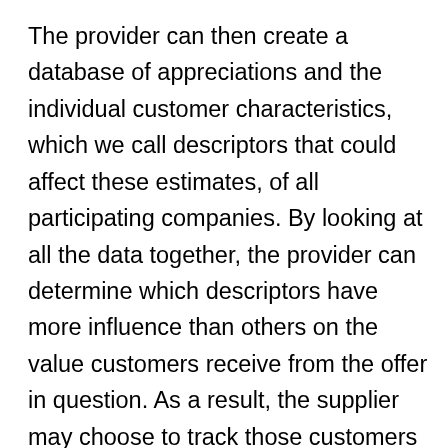The provider can then create a database of appreciations and the individual customer characteristics, which we call descriptors that could affect these estimates, of all participating companies. By looking at all the data together, the provider can determine which descriptors have more influence than others on the value customers receive from the offer in question. As a result, the supplier may choose to track those customers and potential customers for whom their offer provides greater value. After building the initial value model, the supplier must validate it by conducting additional assessments with other customers or potential customers in the market segment.